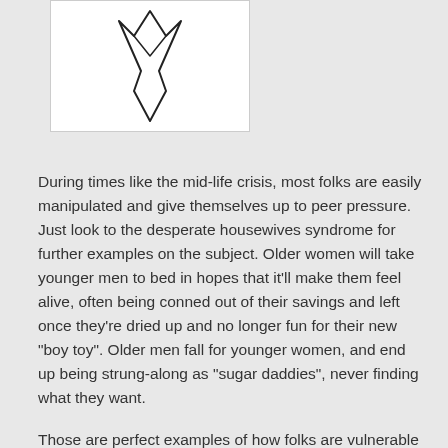[Figure (illustration): A black and white line illustration of a stylized bird or arrow-like shape pointing downward, on a white background.]
During times like the mid-life crisis, most folks are easily manipulated and give themselves up to peer pressure.  Just look to the desperate housewives syndrome for further examples on the subject.  Older women will take younger men to bed in hopes that it'll make them feel alive, often being conned out of their savings and left once they're dried up and no longer fun for their new "boy toy". Older men fall for younger women, and end up being strung-along as "sugar daddies", never finding what they want.
Those are perfect examples of how folks are vulnerable through mundane means when their patterns are interrupted.  Now, to switch gears, we can also see the same thing in a magical and metaphysical light, though the dynamic changes slightly.